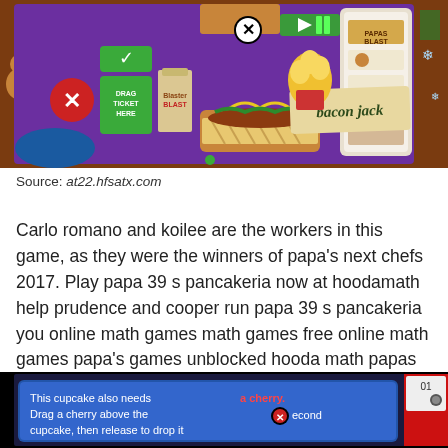[Figure (screenshot): Screenshot of a food serving game (Papa's Blast) showing a hot dog with 'bacon jack' label, a drink cup, popcorn, and game UI elements including drag ticket area, green checkmark button, and red X button, on a purple background with Christmas-themed border decorations.]
Source: at22.hfsatx.com
Carlo romano and koilee are the workers in this game, as they were the winners of papa's next chefs 2017. Play papa 39 s pancakeria now at hoodamath help prudence and cooper run papa 39 s pancakeria you online math games math games free online math games papa's games unblocked hooda math papas scooperia is a very famous ice cream parlor every day.
[Figure (screenshot): Screenshot of another game showing a cupcake tutorial with text 'This cupcake also needs a cherry. Drag a cherry above the second...' with a red X close button and a score panel on the right side.]